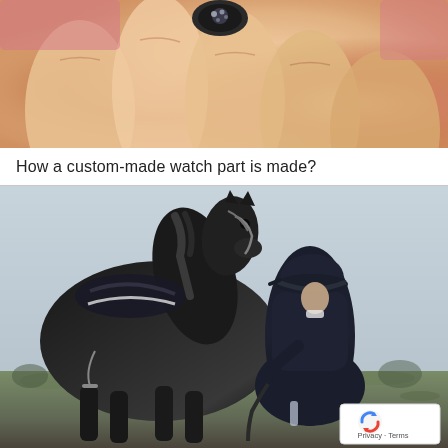[Figure (photo): Close-up photo of a hand holding a decorative ring with an ornate dark setting, wearing a pink sleeve in the background]
How a custom-made watch part is made?
[Figure (photo): Photo of a person dressed in dark navy equestrian attire standing next to a dark brown/black horse in an outdoor field setting, with a reCAPTCHA privacy badge in the lower right corner]